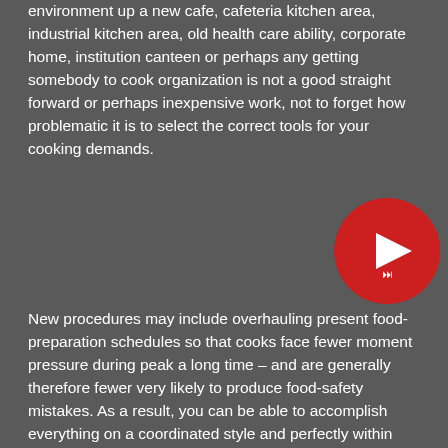environment up a new cafe, cafeteria kitchen area, industrial kitchen area, old health care ability, corporate home, institution canteen or perhaps any getting somebody to cook organization is not a good straight forward or perhaps inexpensive work, not to forget how problematic it is to select the correct tools for your cooking demands.
[Figure (other): Red circular play button icon with a white play triangle and fast-forward symbol]
New procedures may include overhauling present food-preparation schedules so that cooks face fewer moment pressure during peak a long time – and are generally therefore fewer very likely to produce food-safety mistakes. As a result, you can be able to accomplish everything on a coordinated style and perfectly within moment if you implement business oriented kitchens apparatus. If you've only ever used a cheap chef's silverware for your grilling desires, shifting to a high level of quality silverware will be a nights and moment difference. drowned the idea: Force baking the foodstuff around very far solution will be the number a single legitimate reason your own personal force baked food items will be tasteless.
An important heavy airliner washer with liquid at a temperature of 88 ...